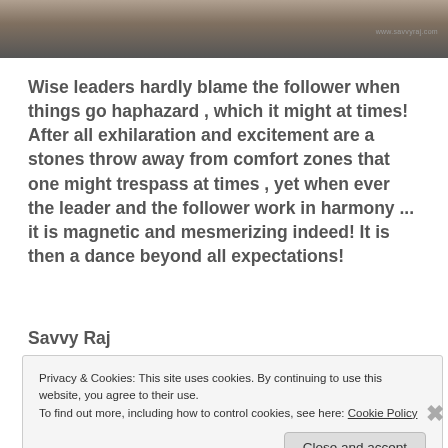[Figure (photo): Partial photo of a person, cropped at top of page, with watermark text 'www.savvyraj.com' in top right]
Wise leaders hardly blame the follower when things go haphazard , which it might at times! After all exhilaration and excitement are a stones throw away from comfort zones that one might trespass at times , yet when ever the leader and the follower work in harmony ... it is magnetic and mesmerizing indeed! It is then a dance beyond all expectations!
Savvy Raj
Privacy & Cookies: This site uses cookies. By continuing to use this website, you agree to their use.
To find out more, including how to control cookies, see here: Cookie Policy
Close and accept